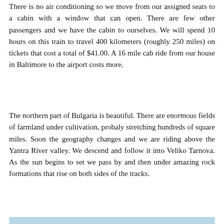There is no air conditioning so we move from our assigned seats to a cabin with a window that can open. There are few other passengers and we have the cabin to ourselves. We will spend 10 hours on this train to travel 400 kilometers (roughly 250 miles) on tickets that cost a total of $41.00. A 16 mile cab ride from our house in Baltimore to the airport costs more.
The northern part of Bulgaria is beautiful. There are enormous fields of farmland under cultivation, probaly stretching hundreds of square miles. Soon the geography changes and we are riding above the Yantra River valley. We descend and follow it into Veliko Tarnova. As the sun begins to set we pass by and then under amazing rock formations that rise on both sides of the tracks.